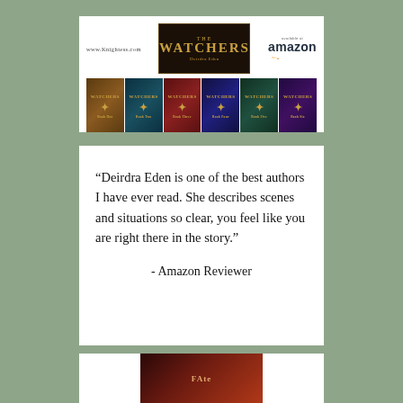[Figure (illustration): The Watchers book series header with logo, www.Knightess.com URL, and Amazon availability badge]
[Figure (illustration): Row of six Watchers book covers with fantasy artwork in dark tones (brown, teal, red, blue, green, purple)]
“Deirdra Eden is one of the best authors I have ever read. She describes scenes and situations so clear, you feel like you are right there in the story.”
- Amazon Reviewer
[Figure (illustration): Partial view of another book cover at the bottom of the page with dark red/orange tones]